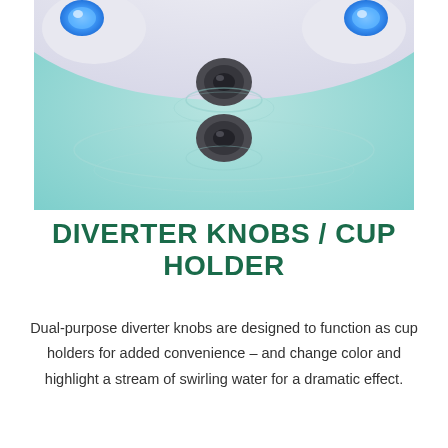[Figure (photo): Close-up photo of a hot tub or spa interior showing two circular jet/diverter knobs in the center of a light blue basin, with two glowing blue knobs visible on the upper left and upper right corners.]
DIVERTER KNOBS / CUP HOLDER
Dual-purpose diverter knobs are designed to function as cup holders for added convenience – and change color and highlight a stream of swirling water for a dramatic effect.